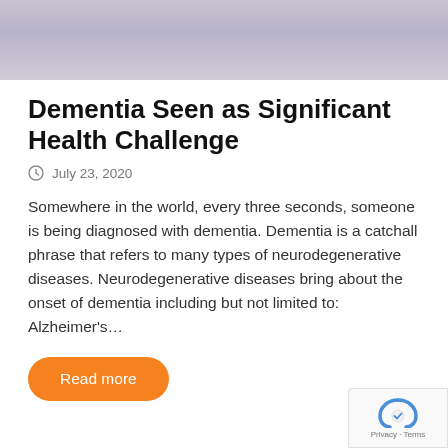[Figure (photo): Top banner image, partially visible, appears to show a medical or elderly care scene with muted purple/grey tones]
Dementia Seen as Significant Health Challenge
July 23, 2020
Somewhere in the world, every three seconds, someone is being diagnosed with dementia. Dementia is a catchall phrase that refers to many types of neurodegenerative diseases. Neurodegenerative diseases bring about the onset of dementia including but not limited to: Alzheimer's…
Read more